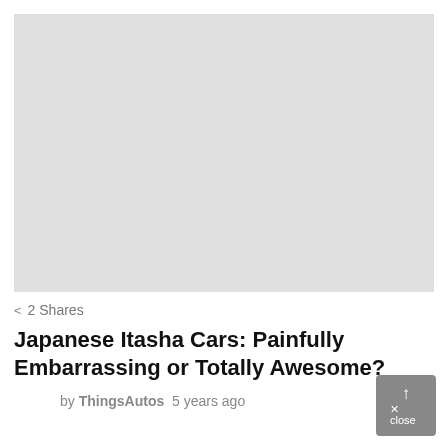[Figure (photo): Light gray placeholder image for article about Japanese Itasha Cars]
< 2 Shares
Japanese Itasha Cars: Painfully Embarrassing or Totally Awesome?
by ThingsAutos  5 years ago